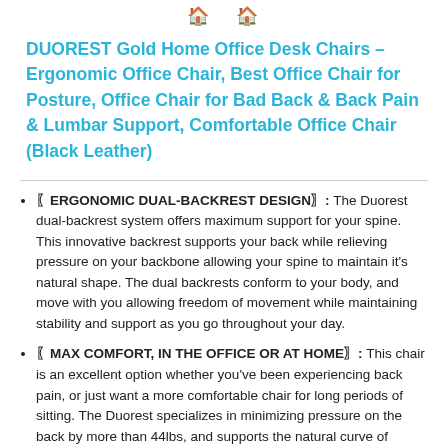🏠  🏠
DUOREST Gold Home Office Desk Chairs – Ergonomic Office Chair, Best Office Chair for Posture, Office Chair for Bad Back & Back Pain & Lumbar Support, Comfortable Office Chair (Black Leather)
〖ERGONOMIC DUAL-BACKREST DESIGN〗: The Duorest dual-backrest system offers maximum support for your spine. This innovative backrest supports your back while relieving pressure on your backbone allowing your spine to maintain it's natural shape. The dual backrests conform to your body, and move with you allowing freedom of movement while maintaining stability and support as you go throughout your day.
〖MAX COMFORT, IN THE OFFICE OR AT HOME〗: This chair is an excellent option whether you've been experiencing back pain, or just want a more comfortable chair for long periods of sitting. The Duorest specializes in minimizing pressure on the back by more than 44lbs, and supports the natural curve of